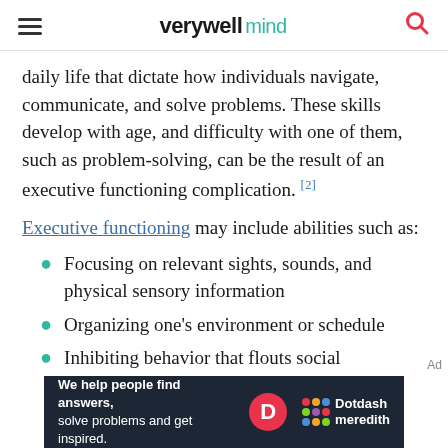verywell mind
daily life that dictate how individuals navigate, communicate, and solve problems. These skills develop with age, and difficulty with one of them, such as problem-solving, can be the result of an executive functioning complication. [2]
Executive functioning may include abilities such as:
Focusing on relevant sights, sounds, and physical sensory information
Organizing one's environment or schedule
Inhibiting behavior that flouts social expectations and norms
[Figure (logo): Dotdash Meredith advertisement banner with text: We help people find answers, solve problems and get inspired.]